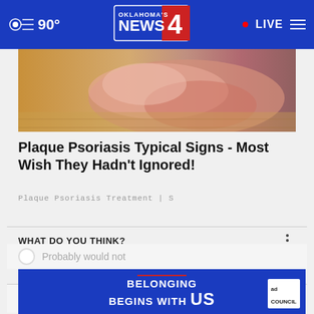90° Oklahoma's News 4 · LIVE
[Figure (photo): Close-up photo of a foot or heel with reddish, inflamed skin possibly showing psoriasis]
Plaque Psoriasis Typical Signs - Most Wish They Hadn't Ignored!
Plaque Psoriasis Treatment | S
WHAT DO YOU THINK?
Do you think the US would or would not benefit from having more than two major political parties?
Definitely would
[Figure (screenshot): Ad Council banner: BELONGING BEGINS WITH US]
Probably would not